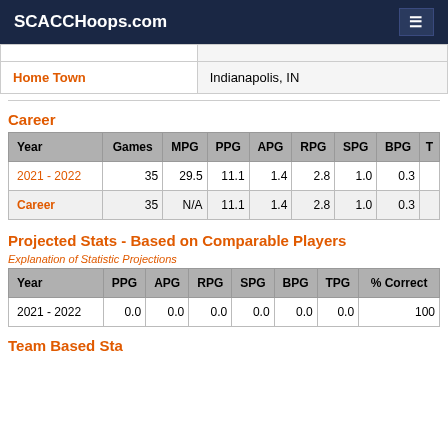SCACCHoops.com
|  |  |
| --- | --- |
| Home Town | Indianapolis, IN |
Career
| Year | Games | MPG | PPG | APG | RPG | SPG | BPG | T |
| --- | --- | --- | --- | --- | --- | --- | --- | --- |
| 2021 - 2022 | 35 | 29.5 | 11.1 | 1.4 | 2.8 | 1.0 | 0.3 |  |
| Career | 35 | N/A | 11.1 | 1.4 | 2.8 | 1.0 | 0.3 |  |
Projected Stats - Based on Comparable Players
Explanation of Statistic Projections
| Year | PPG | APG | RPG | SPG | BPG | TPG | % Correct |
| --- | --- | --- | --- | --- | --- | --- | --- |
| 2021 - 2022 | 0.0 | 0.0 | 0.0 | 0.0 | 0.0 | 0.0 | 100 |
Team Based Stats